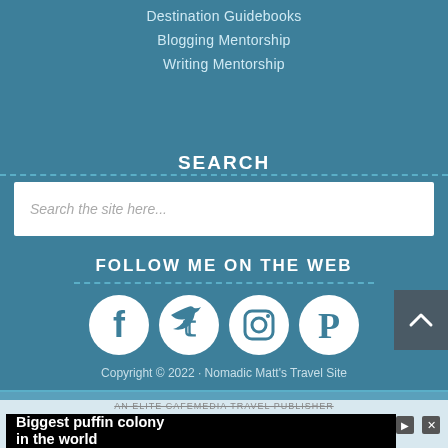Destination Guidebooks
Blogging Mentorship
Writing Mentorship
SEARCH
Search the site here...
FOLLOW ME ON THE WEB
[Figure (infographic): Four circular social media icons: Facebook, Twitter, Instagram, Pinterest]
Copyright © 2022 · Nomadic Matt's Travel Site
AN ELITE CAFEMEDIA TRAVEL PUBLISHER
[Figure (screenshot): Advertisement banner: Biggest puffin colony in the world]